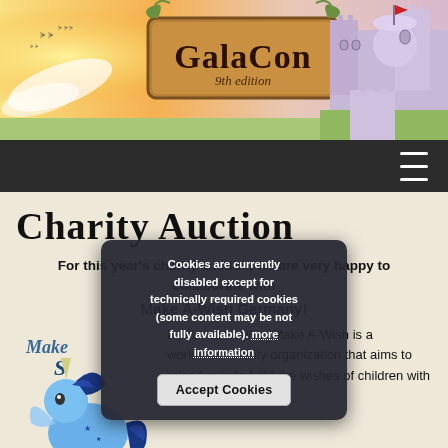[Figure (illustration): GalaCon 9th edition banner with fantasy castle, sunset sky, birds, and a wooden sign reading 'GalaCon 9th edition']
Navigation bar with hamburger menu icon
Charity Auction
For this year's charity auction, we are very happy to collaborate with
Make A-Wish Germany!
[Figure (illustration): Make A Wish logo with a blue pony unicorn character illustration]
If you not familiar, Make A-Wish is a worldwide charity organization that aims to raise funds to fulfill the wishes of children with
Cookies are currently disabled except for technically required cookies (some content may be not fully available). more information
Accept Cookies